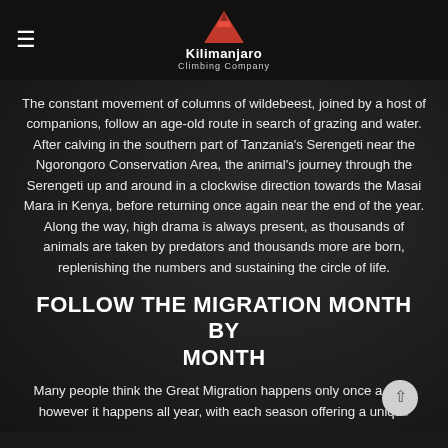Kilimanjaro Climbing Company
The constant movement of columns of wildebeest, joined by a host of companions, follow an age-old route in search of grazing and water. After calving in the southern part of Tanzania's Serengeti near the Ngorongoro Conservation Area, the animal's journey through the Serengeti up and around in a clockwise direction towards the Masai Mara in Kenya, before returning once again near the end of the year. Along the way, high drama is always present, as thousands of animals are taken by predators and thousands more are born, replenishing the numbers and sustaining the circle of life.
FOLLOW THE MIGRATION MONTH BY MONTH
Many people think the Great Migration happens only once a year, however it happens all year, with each season offering a unique